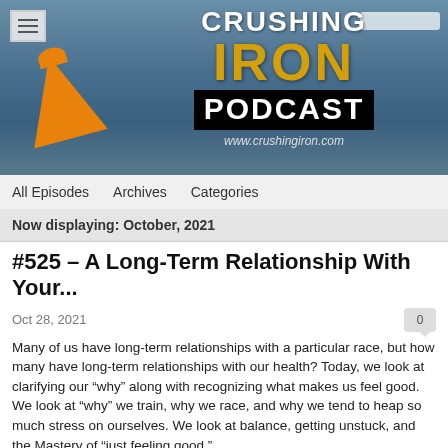[Figure (illustration): Crushing Iron Podcast banner header with water/triathlon background, orange buoy, and podcast logo text including 'CRUSHING', 'IRON' in gold, 'PODCAST' in white on black, and www.crushingiron.com URL]
All Episodes   Archives   Categories
Now displaying: October, 2021
#525 – A Long-Term Relationship With Your...
Oct 28, 2021
Many of us have long-term relationships with a particular race, but how many have long-term relationships with our health? Today, we look at clarifying our “why” along with recognizing what makes us feel good. We look at “why” we train, why we race, and why we tend to heap so much stress on ourselves. We look at balance, getting unstuck, and the Mastery of “just feeling good.”
Topics:
Dry Skin and Beard Season